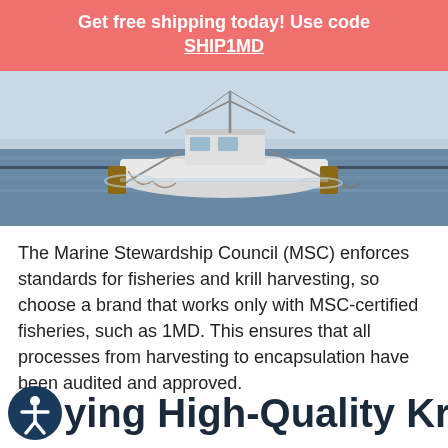Get free shipping today! Use code SHIP1MD
[Figure (photo): A fishing trawler boat on open water with nets deployed, photographed from the side in daylight.]
The Marine Stewardship Council (MSC) enforces standards for fisheries and krill harvesting, so choose a brand that works only with MSC-certified fisheries, such as 1MD. This ensures that all processes from harvesting to encapsulation have been audited and approved.
ying High-Quality Krill